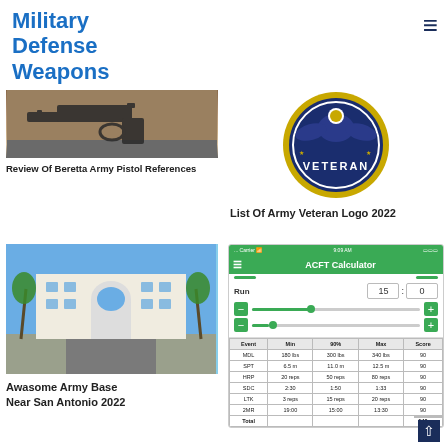Military Defense Weapons
[Figure (photo): Beretta pistol reference image - gun on brown background]
Review Of Beretta Army Pistol References
[Figure (logo): Army Veteran circular emblem logo in blue and gold]
List Of Army Veteran Logo 2022
[Figure (photo): Awesome Army Base near San Antonio - large white building with palm trees and arched entrance]
Awasome Army Base Near San Antonio 2022
[Figure (screenshot): ACFT Calculator mobile app screenshot showing run time 15:0 and slider controls, with results table showing MDL, SPT, HRP, SDC, LTK, 2MR events]
| Event | Min | 90% | Max | Score |
| --- | --- | --- | --- | --- |
| MDL | 180 lbs | 300 lbs | 340 lbs | 90 |
| SPT | 6.5 m | 11.0 m | 12.5 m | 90 |
| HRP | 20 reps | 50 reps | 80 reps | 90 |
| SDC | 2:30 | 1:50 | 1:33 | 90 |
| LTK | 3 reps | 15 reps | 20 reps | 90 |
| 2MR | 19:00 | 15:00 | 13:30 | 90 |
| Total |  |  |  | 540 |